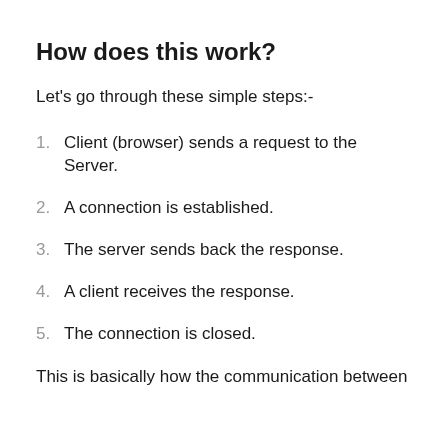How does this work?
Let's go through these simple steps:-
1. Client (browser) sends a request to the Server.
2. A connection is established.
3. The server sends back the response.
4. A client receives the response.
5. The connection is closed.
This is basically how the communication between